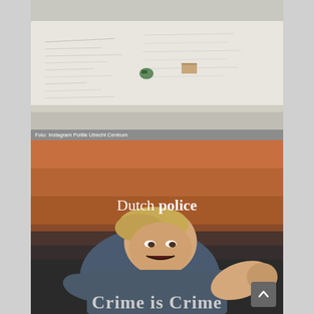[Figure (photo): Top photo showing a white surface (possibly a map or document spread on a table) with some small objects on it, viewed from above. Appears to be a crime scene or police evidence photo.]
Foto: Instagram Politie Utrecht Centrum
[Figure (photo): Bottom image: a meme using a still from The Incredibles animated film showing a character crawling/lunging forward angrily, with the text 'Dutch police' overlaid in white serif font. Partially visible bold text at the bottom reads 'Crime is Crime'.]
Dutch police
Crime is Crime